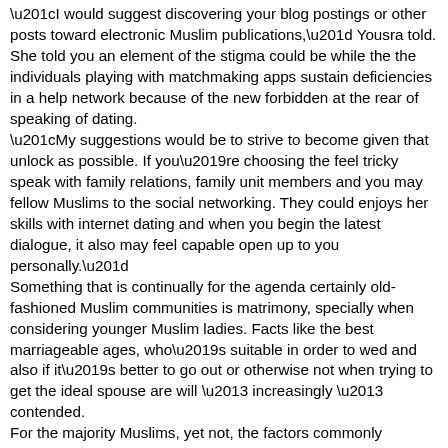“I would suggest discovering your blog postings or other posts toward electronic Muslim publications,” Yousra told. She told you an element of the stigma could be while the the individuals playing with matchmaking apps sustain deficiencies in a help network because of the new forbidden at the rear of speaking of dating.
“My suggestions would be to strive to become given that unlock as possible. If you’re choosing the feel tricky speak with family relations, family unit members and you may fellow Muslims to the social networking. They could enjoys her skills with internet dating and when you begin the latest dialogue, it also may feel capable open up to you personally.”
Something that is continually for the agenda certainly old-fashioned Muslim communities is matrimony, specially when considering younger Muslim ladies. Facts like the best marriageable ages, who’s suitable in order to wed and also if it’s better to go out or otherwise not when trying to get the ideal spouse are will – increasingly – contended.
For the majority Muslims, yet not, the factors commonly determined on their own as well
sex match org
as their tastes, knowledge and experience, but by its parents or the people.
Too frequently, Muslims within a good “marriageable” ages was confronted with tension in order to wed not simply during the a particular many years window, as well as so you can a certain people; otherwise social, racial otherwise denominational classification.